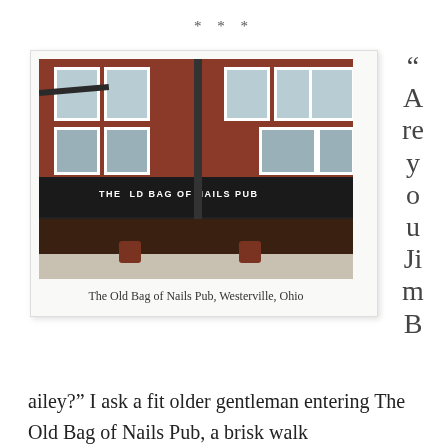* * *
[Figure (photo): Photograph of The Old Bag of Nails Pub, a red brick building with black awning, street lamp in foreground, Westerville, Ohio]
The Old Bag of Nails Pub, Westerville, Ohio
“Are you Jim Bailey?” I ask a fit older gentleman entering The Old Bag of Nails Pub, a brisk walk